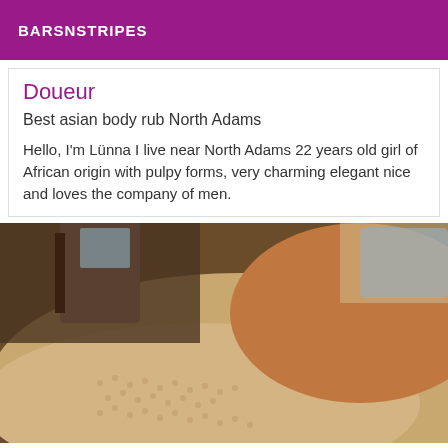BARSNSTRIPES
Doueur
Best asian body rub North Adams
Hello, I'm Lünna I live near North Adams 22 years old girl of African origin with pulpy forms, very charming elegant nice and loves the company of men.
[Figure (photo): Close-up photo of a person lying on a textured knit fabric surface, indoor setting with furniture visible in background]